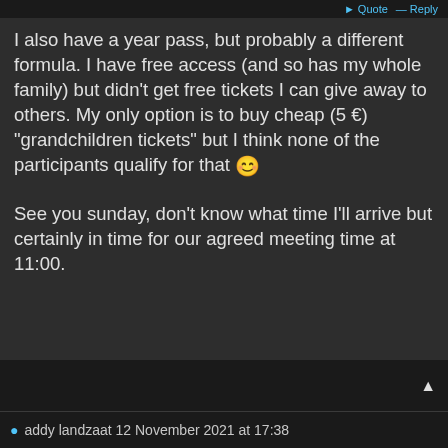Quote  Reply
I also have a year pass, but probably a different formula. I have free access (and so has my whole family) but didn't get free tickets I can give away to others. My only option is to buy cheap (5 €) "grandchildren tickets" but I think none of the participants qualify for that 😊

See you sunday, don't know what time I'll arrive but certainly in time for our agreed meeting time at 11:00.
addy landzaat 12 November 2021 at 17:38